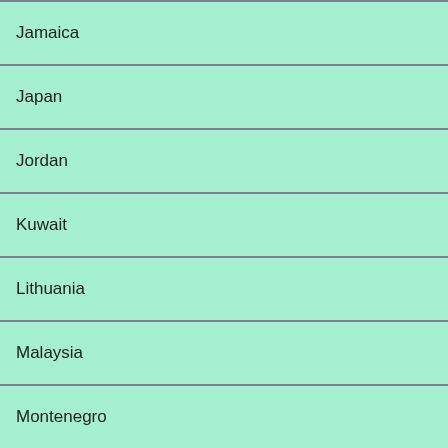| Jamaica |
| Japan |
| Jordan |
| Kuwait |
| Lithuania |
| Malaysia |
| Montenegro |
| Morocco |
| Paraguay |
| Peru |
| Qatar |
| Saudi Arabia |